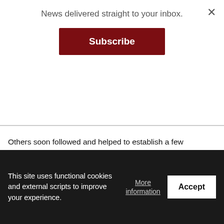News delivered straight to your inbox.
Subscribe
Others soon followed and helped to establish a few scattered settlements on Guam, Rota, Tinian and Saipan at such areas as Achugao, Unai Bapot, Unai Chulu, and Litekyan.
Who were these people? Where did they come from? What do we know about their lifestyle?
This site uses functional cookies and external scripts to improve your experience.
More information
Accept